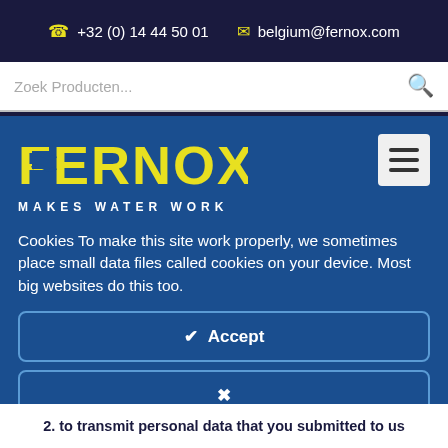+32 (0) 14 44 50 01  belgium@fernox.com
Zoek Producten...
[Figure (logo): Fernox Makes Water Work logo in yellow on blue background]
Cookies To make this site work properly, we sometimes place small data files called cookies on your device. Most big websites do this too.
✓  Accept
✕
Read more  →
2. to transmit personal data that you submitted to us